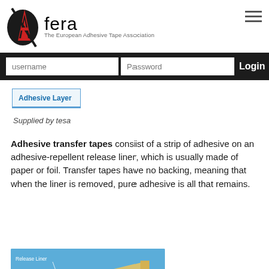[Figure (logo): Afera logo - black circle with red A, text 'Afera' and subtitle 'The European Adhesive Tape Association']
username | Password | Login
Adhesive Layer
Supplied by tesa
Adhesive transfer tapes consist of a strip of adhesive on an adhesive-repellent release liner, which is usually made of paper or foil. Transfer tapes have no backing, meaning that when the liner is removed, pure adhesive is all that remains.
[Figure (illustration): Diagram of adhesive tape layers showing Release Liner, Pressure Sensitive Adhesive Layer, Primer, Backing, Primer labeled on peeling tape layers in a blue box]